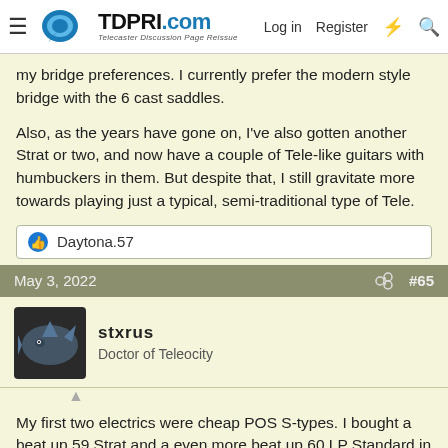TDPRI.com — Telecaster Discussion Page Reissue | Log in | Register
my bridge preferences. I currently prefer the modern style bridge with the 6 cast saddles.
Also, as the years have gone on, I've also gotten another Strat or two, and now have a couple of Tele-like guitars with humbuckers in them. But despite that, I still gravitate more towards playing just a typical, semi-traditional type of Tele.
👍 Daytona.57
May 3, 2022   #65
stxrus
Doctor of Teleocity
My first two electrics were cheap POS S-types. I bought a beat up 59 Strat and a even more beat up 60 LP Standard in 1968. Two years later I bought a LP Deluxe (after selling both the beat up guitars for a whopping $250.00 profit) and played LPs and SGs exclusively for almost 30 years.